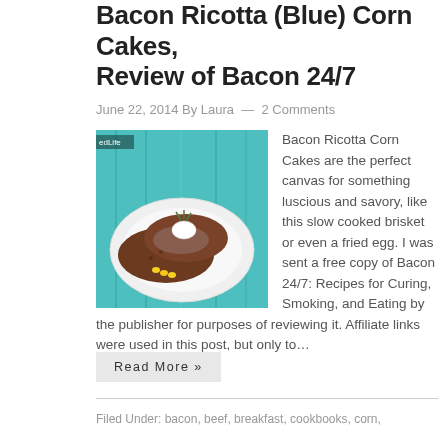Bacon Ricotta (Blue) Corn Cakes, Review of Bacon 24/7
June 22, 2014 By Laura — 2 Comments
[Figure (photo): Food photo showing corn cakes topped with brisket and a dollop of cream on a white plate, with corn kernels and herbs, on a teal/turquoise wooden surface.]
Bacon Ricotta Corn Cakes are the perfect canvas for something luscious and savory, like this slow cooked brisket or even a fried egg. I was sent a free copy of Bacon 24/7: Recipes for Curing, Smoking, and Eating by the publisher for purposes of reviewing it. Affiliate links were used in this post, but only to…
Read More »
Filed Under: bacon, beef, breakfast, cookbooks, corn,